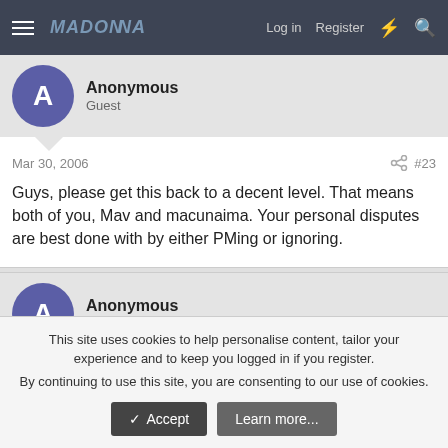MADONNARONS — Log in  Register
Anonymous
Guest
Mar 30, 2006  #23
Guys, please get this back to a decent level. That means both of you, Mav and macunaima. Your personal disputes are best done with by either PMing or ignoring.
Anonymous
Guest
This site uses cookies to help personalise content, tailor your experience and to keep you logged in if you register.
By continuing to use this site, you are consenting to our use of cookies.